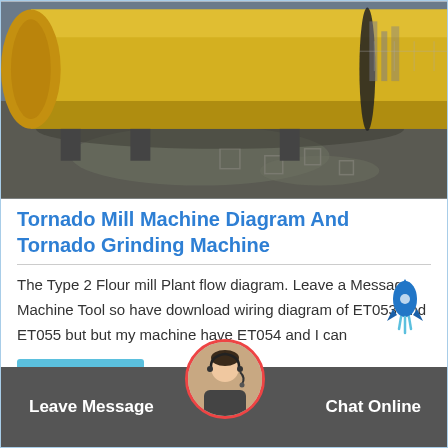[Figure (photo): Large yellow cylindrical rotary drum machine (mill) on a wet concrete floor outdoors]
Tornado Mill Machine Diagram And Tornado Grinding Machine
The Type 2 Flour mill Plant flow diagram. Leave a Message. Machine Tool so have download wiring diagram of ET053 and ET055 but but my machine have ET054 and I can
Get Price
Leave Message   Chat Online